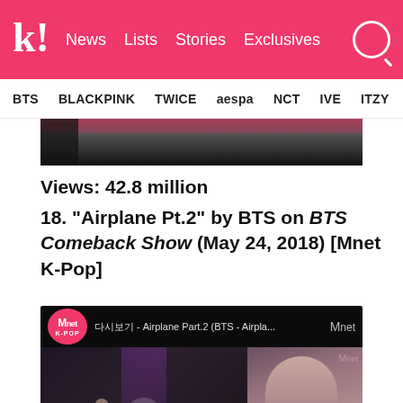k! News  Lists  Stories  Exclusives
BTS  BLACKPINK  TWICE  aespa  NCT  IVE  ITZY
[Figure (screenshot): Top portion of an article image (partially visible, cropped)]
Views: 42.8 million
18. "Airplane Pt.2" by BTS on BTS Comeback Show (May 24, 2018) [Mnet K-Pop]
[Figure (screenshot): Embedded YouTube video thumbnail from Mnet K-POP showing BTS performing 'Airplane Part.2' on BTS Comeback Show. Video title bar reads: Mnet K-POP logo, Korean text - Airplane Part.2 (BTS - Airpla... Mnet. Main image shows BTS group members on stage on left side, and a close-up of one member on the right side. Play button visible in center.]